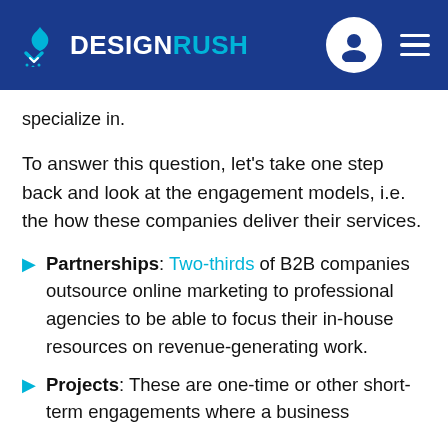DESIGNRUSH
specialize in.
To answer this question, let's take one step back and look at the engagement models, i.e. the how these companies deliver their services.
Partnerships: Two-thirds of B2B companies outsource online marketing to professional agencies to be able to focus their in-house resources on revenue-generating work.
Projects: These are one-time or other short-term engagements where a business